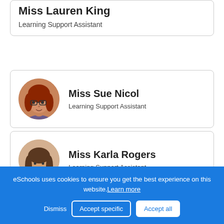Miss Lauren King
Learning Support Assistant
[Figure (photo): Circular portrait photo of Miss Sue Nicol, a woman with red hair and glasses]
Miss Sue Nicol
Learning Support Assistant
[Figure (photo): Circular portrait photo of Miss Karla Rogers, a woman with brown hair]
Miss Karla Rogers
Learning Support Assistant
eSchools uses cookies to ensure you get the best experience on this website. Learn more
Dismiss  Accept specific  Accept all